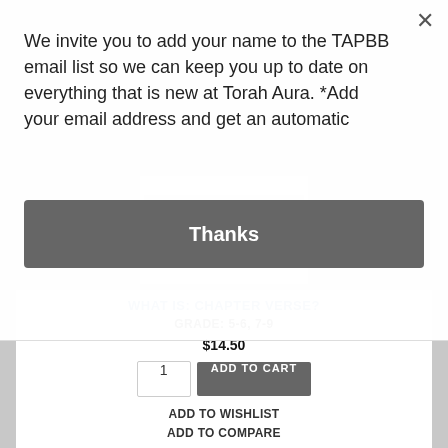We invite you to add your name to the TAPBB email list so we can keep you up to date on everything that is new at Torah Aura. *Add your email address and get an automatic
Thanks
[Figure (screenshot): Thumbnail image of a book page showing text about TaNaCh]
WHAT IS: CHAPTER VERSE?
GRADE: 5-6, 7-9
$14.50
1
ADD TO CART
ADD TO WISHLIST
ADD TO COMPARE